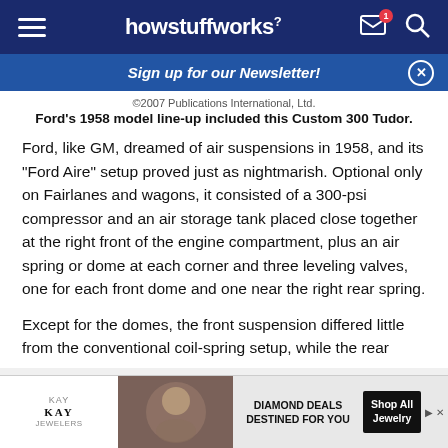howstuffworks
Sign up for our Newsletter!
©2007 Publications International, Ltd.
Ford's 1958 model line-up included this Custom 300 Tudor.
Ford, like GM, dreamed of air suspensions in 1958, and its "Ford Aire" setup proved just as nightmarish. Optional only on Fairlanes and wagons, it consisted of a 300-psi compressor and an air storage tank placed close together at the right front of the engine compartment, plus an air spring or dome at each corner and three leveling valves, one for each front dome and one near the right rear spring.
Except for the domes, the front suspension differed little from the conventional coil-spring setup, while the rear
[Figure (screenshot): KAY Jewelers advertisement banner with couple photo and text 'DIAMOND DEALS DESTINED FOR YOU' and 'Shop All Jewelry' button]